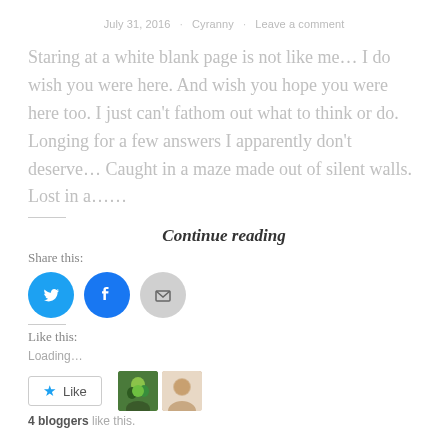July 31, 2016 · Cyranny · Leave a comment
Staring at a white blank page is not like me... I do wish you were here. And wish you hope you were here too. I just can't fathom out what to think or do. Longing for a few answers I apparently don't deserve... Caught in a maze made out of silent walls. Lost in a......
Continue reading
Share this
[Figure (infographic): Three social share icon buttons: Twitter (blue bird), Facebook (blue f), and Email (grey envelope)]
Like this
Loading...
Like  [Like button with star icon]  [two blogger avatars]  4 bloggers like this.